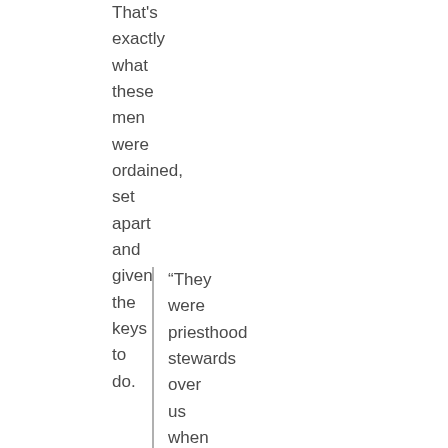That's exactly what these men were ordained, set apart and given the keys to do.
“They were priesthood stewards over us when they were in that position